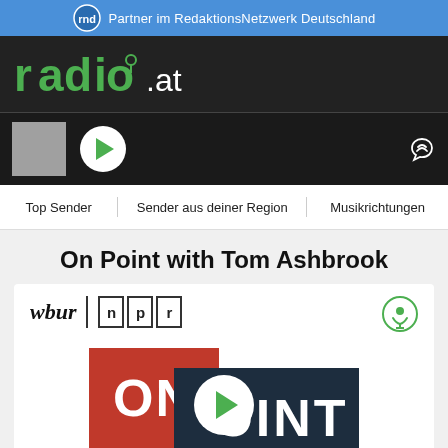Partner im RedaktionsNetzwerk Deutschland
[Figure (logo): radio.at logo in green on dark background]
[Figure (screenshot): Radio player bar with play button and heart icon]
Top Sender    Sender aus deiner Region    Musikrichtungen
On Point with Tom Ashbrook
[Figure (logo): wbur | npr logo]
[Figure (logo): On Point with Tom Ashbrook podcast logo — red ON block and dark navy POINT block with play button in center, TOM ASHBROOK text below]